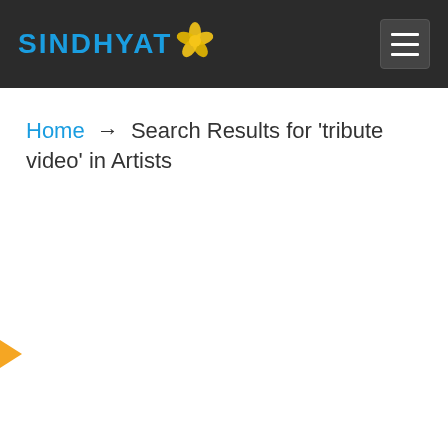SINDHYAT [logo with flower icon] [hamburger menu button]
Home → Search Results for 'tribute video' in Artists